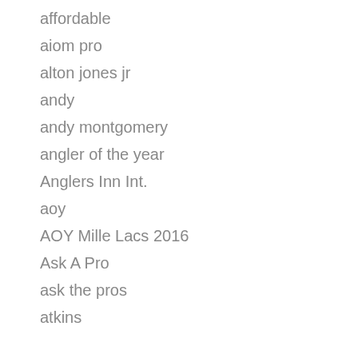aaron matrens
affordable
aiom pro
alton jones jr
andy
andy montgomery
angler of the year
Anglers Inn Int.
aoy
AOY Mille Lacs 2016
Ask A Pro
ask the pros
atkins